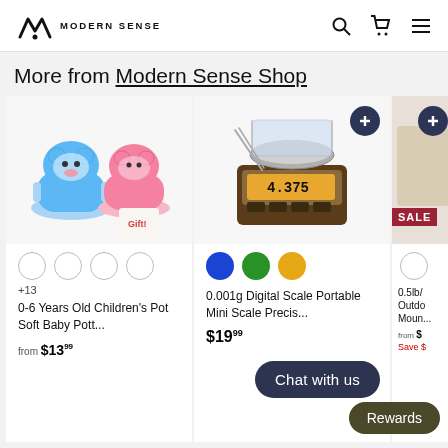Modern Sense
More from Modern Sense Shop
[Figure (photo): Children's potty training seat products in blue and pink animal designs]
+13
0-6 Years Old Children's Pot Soft Baby Pott...
from $13.99
[Figure (photo): 0.001g digital pocket scale with orange display showing 4.375]
0.001g Digital Scale Portable Mini Scale Precis...
$19.99
[Figure (photo): Partial product image with SALE badge — 0.5lb outdoor mountain product]
0.5lb/ Outdo Moun...
from $... Save $...